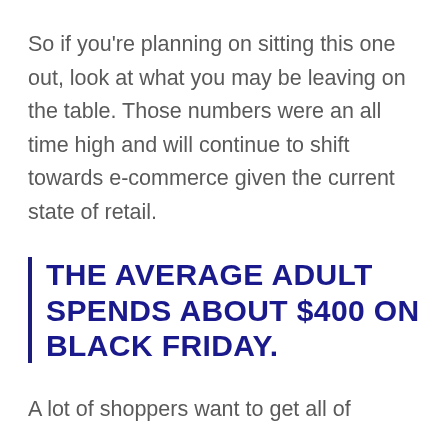So if you're planning on sitting this one out, look at what you may be leaving on the table. Those numbers were an all time high and will continue to shift towards e-commerce given the current state of retail.
THE AVERAGE ADULT SPENDS ABOUT $400 ON BLACK FRIDAY.
A lot of shoppers want to get all of